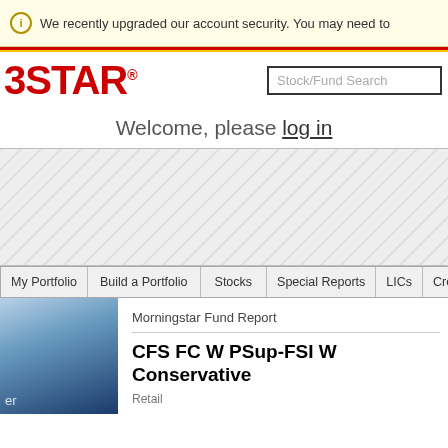We recently upgraded our account security. You may need to
[Figure (screenshot): Morningstar website header with logo, Stock/Fund Search box, welcome message with log in link, advertisement/banner area, navigation bar, and fund report section]
Welcome, please log in
My Portfolio | Build a Portfolio | Stocks | Special Reports | LICs | Credit
Morningstar Fund Report
CFS FC W PSup-FSI W Conservative
Retail